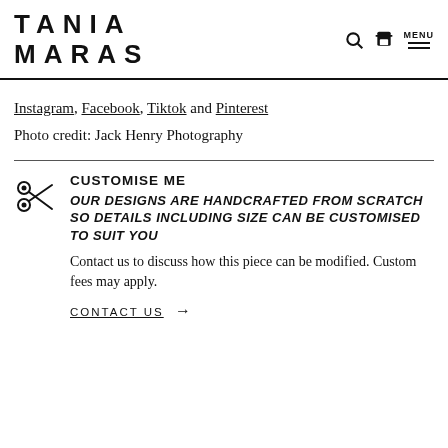TANIA MARAS
Instagram, Facebook, Tiktok and Pinterest
Photo credit: Jack Henry Photography
CUSTOMISE ME
OUR DESIGNS ARE HANDCRAFTED FROM SCRATCH SO DETAILS INCLUDING SIZE CAN BE CUSTOMISED TO SUIT YOU
Contact us to discuss how this piece can be modified. Custom fees may apply.
CONTACT US →